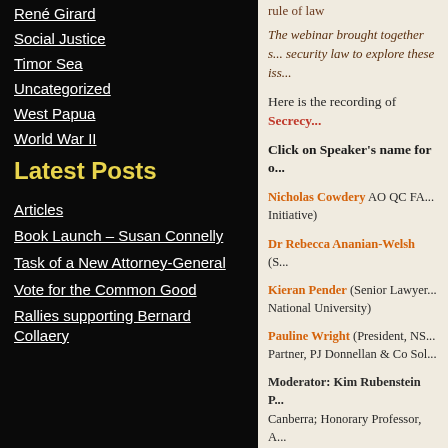René Girard
Social Justice
Timor Sea
Uncategorized
West Papua
World War II
Latest Posts
Articles
Book Launch – Susan Connelly
Task of a New Attorney-General
Vote for the Common Good
Rallies supporting Bernard Collaery
rule of law
The webinar brought together s... security law to explore these iss...
Here is the recording of Secrecy...
Click on Speaker's name for o...
Nicholas Cowdery AO QC FA... Initiative)
Dr Rebecca Ananian-Welsh (S...
Kieran Pender (Senior Lawyer... National University)
Pauline Wright (President, NS... Partner, PJ Donnellan & Co Sol...
Moderator: Kim Rubenstein P... Canberra; Honorary Professor, A...
Media articles:
Guilty parties remain free in '...
Commonwealth prosecutors w...
ACT Bar Association Media R...